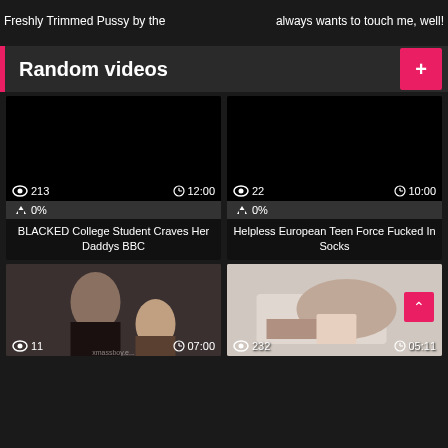Freshly Trimmed Pussy by the
always wants to touch me, well!
Random videos
[Figure (screenshot): Black thumbnail video card: 213 views, 12:00 duration, 0% rating, title: BLACKED College Student Craves Her Daddys BBC]
[Figure (screenshot): Black thumbnail video card: 22 views, 10:00 duration, 0% rating, title: Helpless European Teen Force Fucked In Socks]
[Figure (screenshot): Video thumbnail showing two people: 11 views, 07:00 duration]
[Figure (screenshot): Video thumbnail showing person on bed: 232 views, 05:11 duration]